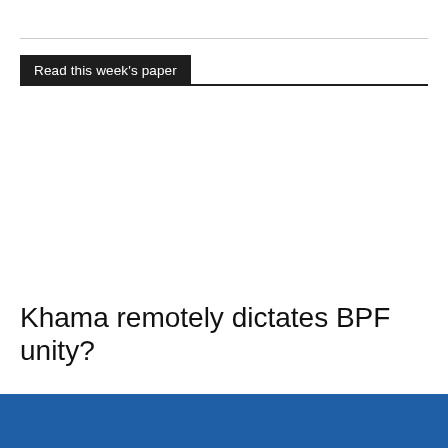Read this week's paper
Khama remotely dictates BPF unity?